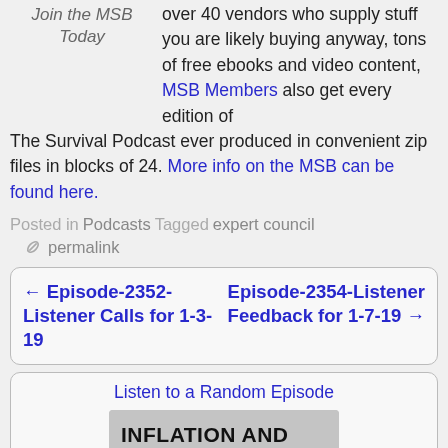Join the MSB Today
over 40 vendors who supply stuff you are likely buying anyway, tons of free ebooks and video content, MSB Members also get every edition of The Survival Podcast ever produced in convenient zip files in blocks of 24. More info on the MSB can be found here.
Posted in Podcasts Tagged expert council
permalink
← Episode-2352-Listener Calls for 1-3-19
Episode-2354-Listener Feedback for 1-7-19 →
Listen to a Random Episode
[Figure (photo): Image with text: INFLATION AND SHORTAGES GOT YOU DOWN?]